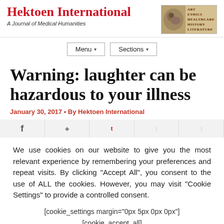Hektoen International — A Journal of Medical Humanities
Warning: laughter can be hazardous to your illness
January 30, 2017 • By Hektoen International
We use cookies on our website to give you the most relevant experience by remembering your preferences and repeat visits. By clicking “Accept All”, you consent to the use of ALL the cookies. However, you may visit “Cookie Settings” to provide a controlled consent.
[cookie_settings margin="0px 5px 0px 0px"]
[cookie_accept_all]